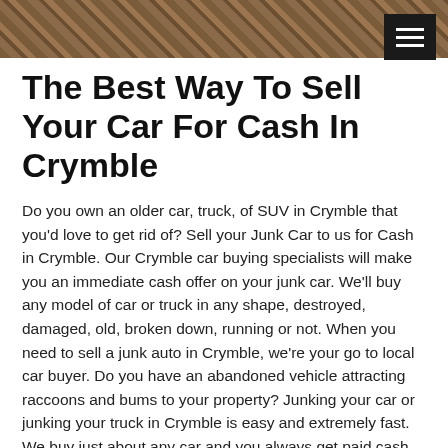[Figure (photo): A brick or stone pavement texture in reddish-brown tones, serving as a hero/banner image at the top of the page. A dark hamburger menu button is overlaid on the top-right corner.]
The Best Way To Sell Your Car For Cash In Crymble
Do you own an older car, truck, of SUV in Crymble that you'd love to get rid of? Sell your Junk Car to us for Cash in Crymble. Our Crymble car buying specialists will make you an immediate cash offer on your junk car. We'll buy any model of car or truck in any shape, destroyed, damaged, old, broken down, running or not. When you need to sell a junk auto in Crymble, we're your go to local car buyer. Do you have an abandoned vehicle attracting raccoons and bums to your property? Junking your car or junking your truck in Crymble is easy and extremely fast. We buy just about any car and you always get paid cash for junk cars. We operate locally in Crymble, and nearby areas. Do you have a car that you worry will crash and burn while you're driving? We Buy Junk Cars for Cash in Crymble. And you bet, we buy junk cars from both individuals and commercial accounts who need to sell their cars or trucks. You can speak with one of our car buyers